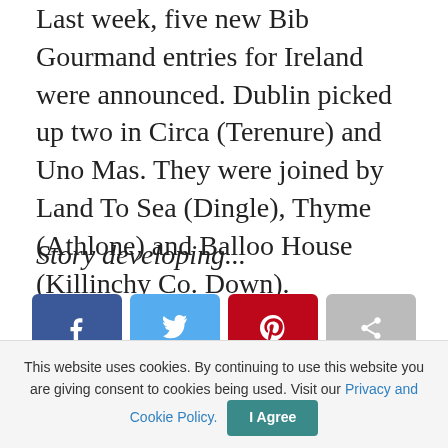Last week, five new Bib Gourmand entries for Ireland were announced. Dublin picked up two in Circa (Terenure) and Uno Mas. They were joined by Land To Sea (Dingle), Thyme (Athlone) and Balloo House (Killinchy Co. Down).
Story developing...
[Figure (other): Social share buttons: Facebook, Twitter, Pinterest, and a generic share button]
This website uses cookies. By continuing to use this website you are giving consent to cookies being used. Visit our Privacy and Cookie Policy. I Agree